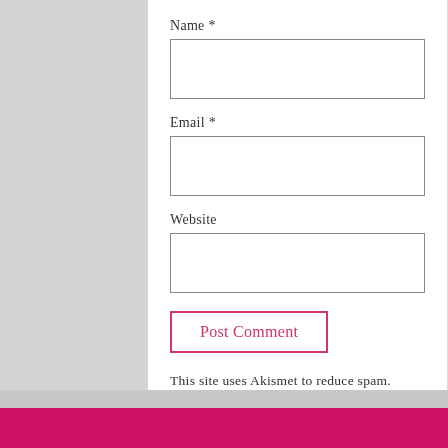Name *
[Figure (other): Empty Name text input field with border]
Email *
[Figure (other): Empty Email text input field with border]
Website
[Figure (other): Empty Website text input field with border]
[Figure (other): Post Comment button with pink border and pink text]
This site uses Akismet to reduce spam. Learn how your comment data is processed.